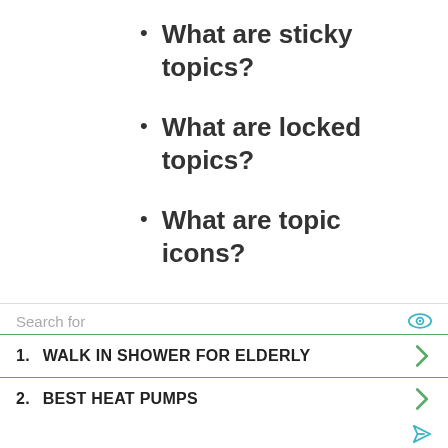What are sticky topics?
What are locked topics?
What are topic icons?
Search for
1. WALK IN SHOWER FOR ELDERLY
2. BEST HEAT PUMPS